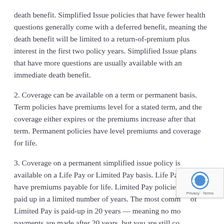death benefit. Simplified Issue policies that have fewer health questions generally come with a deferred benefit, meaning the death benefit will be limited to a return-of-premium plus interest in the first two policy years. Simplified Issue plans that have more questions are usually available with an immediate death benefit.
2. Coverage can be available on a term or permanent basis. Term policies have premiums level for a stated term, and the coverage either expires or the premiums increase after that term. Permanent policies have level premiums and coverage for life.
3. Coverage on a permanent simplified issue policy is available on a Life Pay or Limited Pay basis. Life Pay policies have premiums payable for life. Limited Pay policies can be paid up in a limited number of years. The most common of Limited Pay is paid-up in 20 years — meaning no more payments are made after 20 years, but you are still covered...